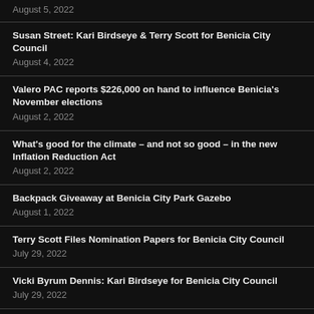August 5, 2022
Susan Street: Kari Birdseye & Terry Scott for Benicia City Council
August 4, 2022
Valero PAC reports $226,000 on hand to influence Benicia's November elections
August 2, 2022
What's good for the climate – and not so good – in the new Inflation Reduction Act
August 2, 2022
Backpack Giveaway at Benicia City Park Gazebo
August 1, 2022
Terry Scott Files Nomination Papers for Benicia City Council
July 29, 2022
Vicki Byrum Dennis: Kari Birdseye for Benicia City Council
July 29, 2022
Newsom calls for more aggressive climate action
July 27, 2022
Gavin Newsom's take on the US Constitution, but telling the…